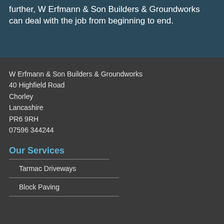further, W Erfmann & Son Builders & Groundworks can deal with the job from beginning to end.
W Erfmann & Son Builders & Groundworks
40 Highfield Road
Chorley
Lancashire
PR6 9RH
07596 344244
Our Services
Tarmac Driveways
Block Paving